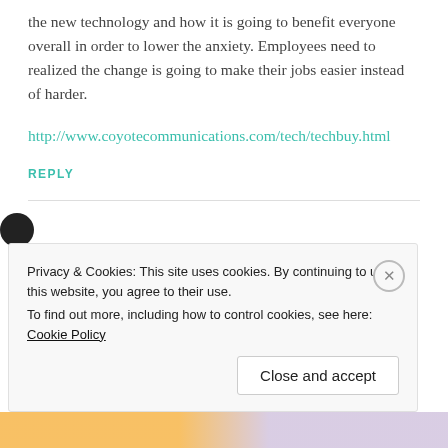the new technology and how it is going to benefit everyone overall in order to lower the anxiety. Employees need to realized the change is going to make their jobs easier instead of harder.
http://www.coyotecommunications.com/tech/techbuy.html
REPLY
Privacy & Cookies: This site uses cookies. By continuing to use this website, you agree to their use. To find out more, including how to control cookies, see here: Cookie Policy